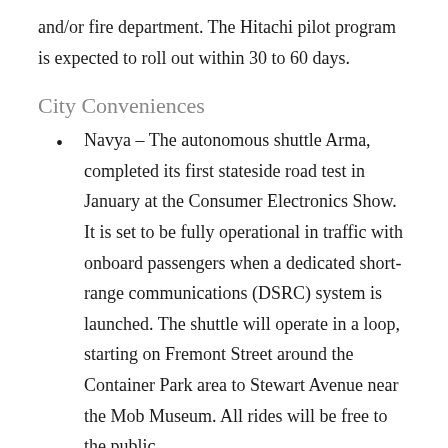and/or fire department. The Hitachi pilot program is expected to roll out within 30 to 60 days.
City Conveniences
Navya – The autonomous shuttle Arma, completed its first stateside road test in January at the Consumer Electronics Show. It is set to be fully operational in traffic with onboard passengers when a dedicated short-range communications (DSRC) system is launched. The shuttle will operate in a loop, starting on Fremont Street around the Container Park area to Stewart Avenue near the Mob Museum. All rides will be free to the public.